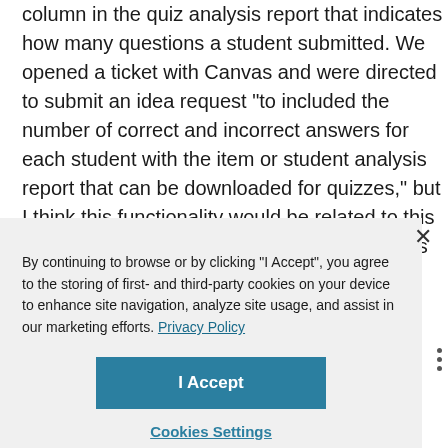column in the quiz analysis report that indicates how many questions a student submitted. We opened a ticket with Canvas and were directed to submit an idea request "to included the number of correct and incorrect answers for each student with the item or student analysis report that can be downloaded for quizzes," but I think this functionality would be related to this idea request, so we are adding our comments here and upvoting this feature idea.
By continuing to browse or by clicking "I Accept", you agree to the storing of first- and third-party cookies on your device to enhance site navigation, analyze site usage, and assist in our marketing efforts. Privacy Policy
I Accept
Cookies Settings